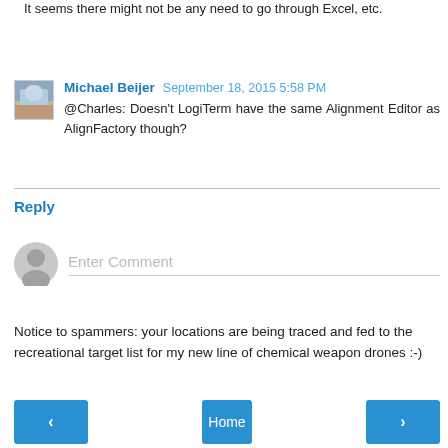It seems there might not be any need to go through Excel, etc.
Michael Beijer  September 18, 2015 5:58 PM
@Charles: Doesn't LogiTerm have the same Alignment Editor as AlignFactory though?
Reply
Enter Comment
Notice to spammers: your locations are being traced and fed to the recreational target list for my new line of chemical weapon drones :-)
< Home >